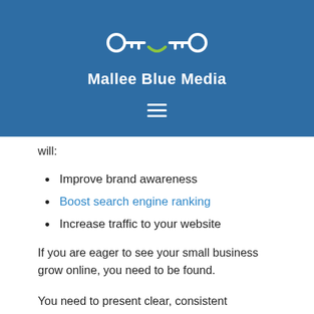[Figure (logo): Mallee Blue Media logo with stylized key/eye icon and white text on blue background]
will:
Improve brand awareness
Boost search engine ranking
Increase traffic to your website
If you are eager to see your small business grow online, you need to be found.
You need to present clear, consistent messages to your site users and potential customers. Brand awareness is